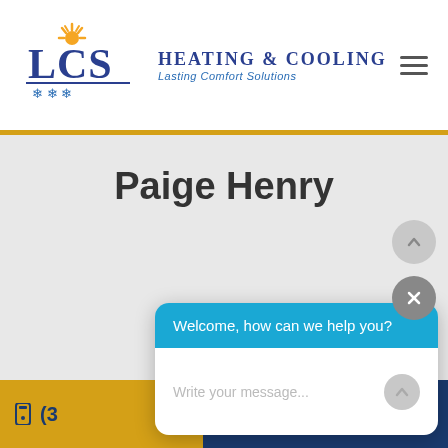[Figure (logo): LCS Heating & Cooling logo with sun and snowflake icons. Text reads 'LCS Heating & Cooling – Lasting Comfort Solutions']
Paige Henry
Welcome, how can we help you?
Write your message...
(3